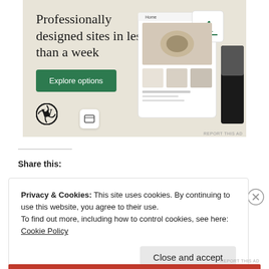[Figure (screenshot): WordPress advertisement banner with beige/cream background. Headline reads 'Professionally designed sites in less than a week'. Green 'Explore options' button. WordPress logo at bottom left. Mock website screenshots on right side.]
REPORT THIS AD
Share this:
Privacy & Cookies: This site uses cookies. By continuing to use this website, you agree to their use.
To find out more, including how to control cookies, see here: Cookie Policy
Close and accept